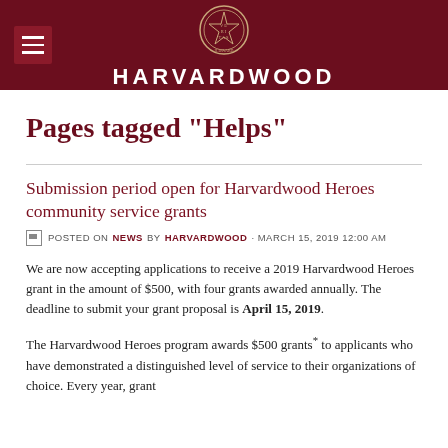HARVARDWOOD
Pages tagged "Helps"
Submission period open for Harvardwood Heroes community service grants
POSTED ON NEWS BY HARVARDWOOD · MARCH 15, 2019 12:00 AM
We are now accepting applications to receive a 2019 Harvardwood Heroes grant in the amount of $500, with four grants awarded annually. The deadline to submit your grant proposal is April 15, 2019.
The Harvardwood Heroes program awards $500 grants* to applicants who have demonstrated a distinguished level of service to their organizations of choice. Every year, grant